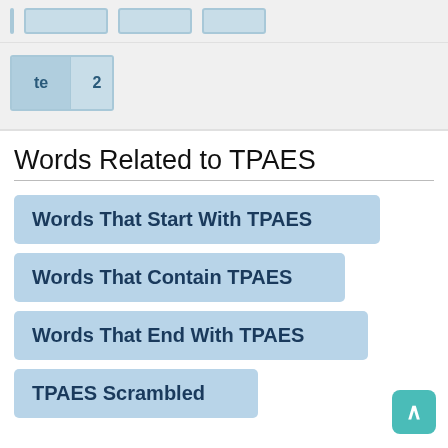[Figure (other): Partial word tiles at top of page, showing cropped tile groups with letters and numbers in light blue, partially visible]
[Figure (other): Single word tile group showing 'te' and '2' in light blue tiles]
Words Related to TPAES
Words That Start With TPAES
Words That Contain TPAES
Words That End With TPAES
TPAES Scrambled